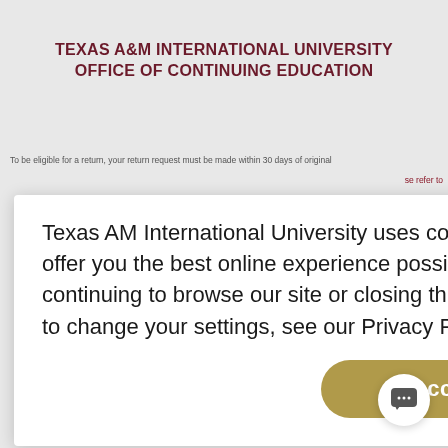TEXAS A&M INTERNATIONAL UNIVERSITY OFFICE OF CONTINUING EDUCATION
To be eligible for a return, your return request must be made within 30 days of original
se refer to
Texas AM International University uses cookies for analytics, advertising, and to offer you the best online experience possible. You accept our use of cookies by continuing to browse our site or closing this message. To learn more, including how to change your settings, see our Privacy Policy. Read more...
Accept